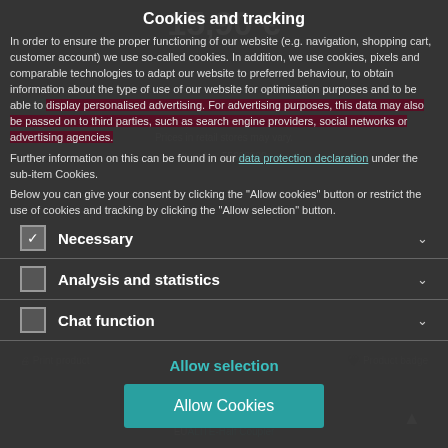Cookies and tracking
In order to ensure the proper functioning of our website (e.g. navigation, shopping cart, customer account) we use so-called cookies. In addition, we use cookies, pixels and comparable technologies to adapt our website to preferred behaviour, to obtain information about the type of use of our website for optimisation purposes and to be able to display personalised advertising. For advertising purposes, this data may also be passed on to third parties, such as search engine providers, social networks or advertising agencies.
Further information on this can be found in our data protection declaration under the sub-item Cookies.
Below you can give your consent by clicking the "Allow cookies" button or restrict the use of cookies and tracking by clicking the "Allow selection" button.
☑ Necessary
☐ Analysis and statistics
☐ Chat function
Allow selection
Allow Cookies